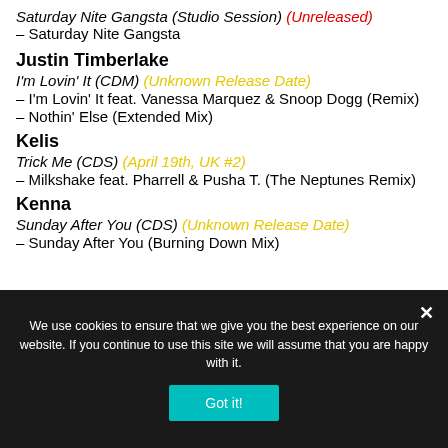Saturday Nite Gangsta (Studio Session) (Unreleased)
– Saturday Nite Gangsta
Justin Timberlake
I'm Lovin' It (CDM) (Unknown Release Date)
– I'm Lovin' It feat. Vanessa Marquez & Snoop Dogg (Remix)
– Nothin' Else (Extended Mix)
Kelis
Trick Me (CDS) (April 19th, UK #2)
– Milkshake feat. Pharrell & Pusha T. (The Neptunes Remix)
Kenna
Sunday After You (CDS) (Unknown Release Date)
– Sunday After You (Burning Down Mix)
We use cookies to ensure that we give you the best experience on our website. If you continue to use this site we will assume that you are happy with it.